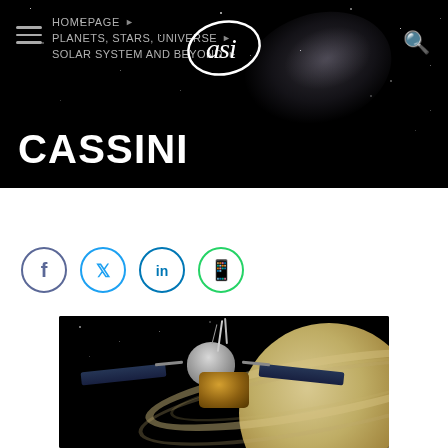HOMEPAGE ▶  PLANETS, STARS, UNIVERSE ▶  SOLAR SYSTEM AND BEYOND ▶
CASSINI
[Figure (illustration): ASI (Agenzia Spaziale Italiana) website screenshot showing navigation menu with hamburger icon, ASI logo in italicized script, search icon, breadcrumb navigation (HOMEPAGE, PLANETS STARS UNIVERSE, SOLAR SYSTEM AND BEYOND), and large bold white title CASSINI over a dark starfield background with galaxy. Below: social share buttons (Facebook, Twitter, LinkedIn, WhatsApp) and a photo of the Cassini spacecraft near Saturn with its rings.]